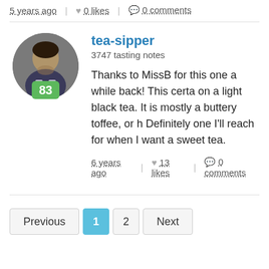5 years ago | ♥ 0 likes | 0 comments
[Figure (photo): User avatar photo of tea-sipper with score badge 83 in green]
tea-sipper
3747 tasting notes
Thanks to MissB for this one a while back! This certa on a light black tea. It is mostly a buttery toffee, or h Definitely one I'll reach for when I want a sweet tea.
6 years ago | ♥ 13 likes | 0 comments
Previous 1 2 Next